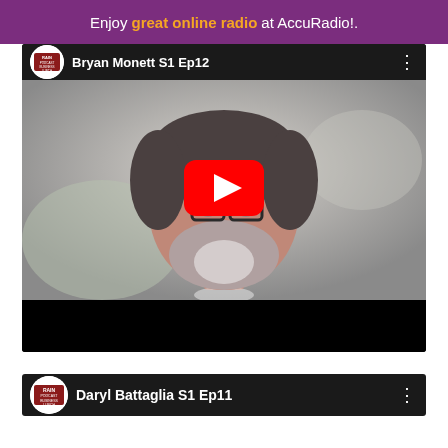Enjoy great online radio at AccuRadio!.
[Figure (screenshot): YouTube-style video card with title 'Bryan Monett S1 Ep12', showing a man with beard and glasses in a dark shirt, with a YouTube play button overlay. Below is a black bar.]
[Figure (screenshot): YouTube-style video card with title 'Daryl Battaglia S1 Ep11', partial view showing logo and title bar.]